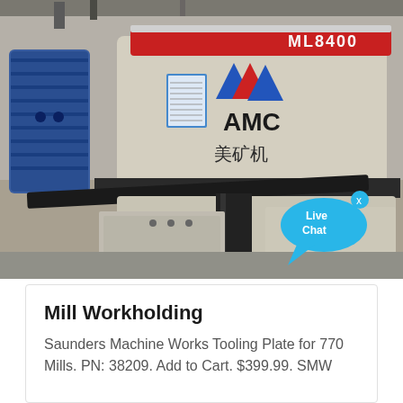[Figure (photo): Industrial AMC ML8400 cone crusher/mill machine in a factory setting. Large cylindrical machine with red stripe at top, AMC logo and Chinese characters on the side, blue motor on the left, dark frame structure below. A 'Live Chat' speech bubble overlay appears in the lower right of the image with an 'x' close button.]
Mill Workholding
Saunders Machine Works Tooling Plate for 770 Mills. PN: 38209. Add to Cart. $399.99. SMW